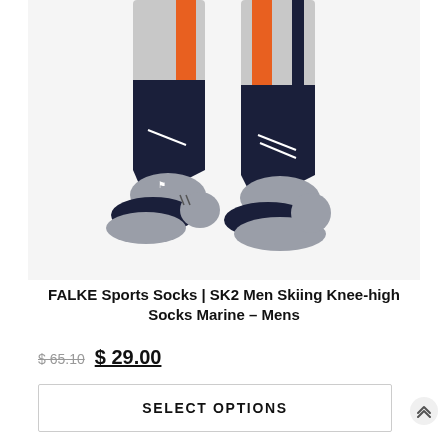[Figure (photo): Product photo of FALKE SK2 ski socks in navy/grey/orange colorway, showing two socks from ankle down, worn on legs, with visible branding and technical zones.]
FALKE Sports Socks | SK2 Men Skiing Knee-high Socks Marine – Mens
$ 65.10  $ 29.00
SELECT OPTIONS